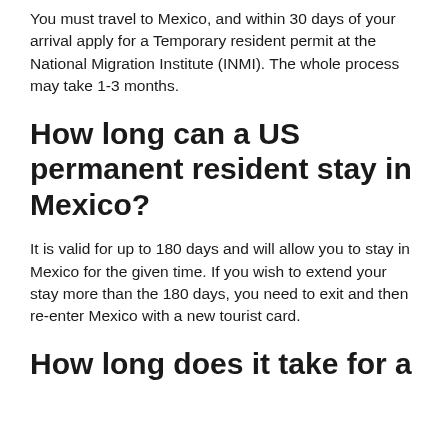You must travel to Mexico, and within 30 days of your arrival apply for a Temporary resident permit at the National Migration Institute (INMI). The whole process may take 1-3 months.
How long can a US permanent resident stay in Mexico?
It is valid for up to 180 days and will allow you to stay in Mexico for the given time. If you wish to extend your stay more than the 180 days, you need to exit and then re-enter Mexico with a new tourist card.
How long does it take for a